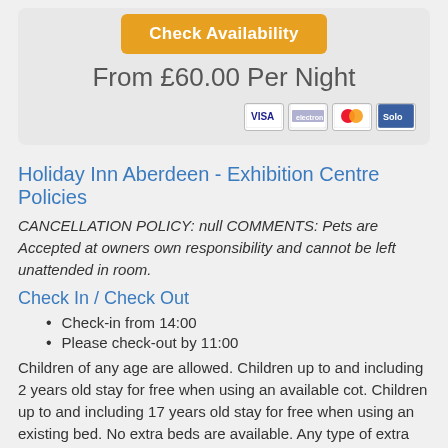[Figure (screenshot): Check Availability button in orange/gold color with rounded corners]
From £60.00 Per Night
[Figure (other): Payment card icons: Visa, Electron, Mastercard, Solo]
Holiday Inn Aberdeen - Exhibition Centre Policies
CANCELLATION POLICY: null COMMENTS: Pets are Accepted at owners own responsibility and cannot be left unattended in room.
Check In / Check Out
Check-in from 14:00
Please check-out by 11:00
Children of any age are allowed. Children up to and including 2 years old stay for free when using an available cot. Children up to and including 17 years old stay for free when using an existing bed. No extra beds are available. Any type of extra bed or child's cot/crib is upon request and needs to be confirmed by management.
Concierge